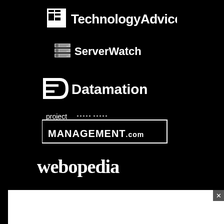[Figure (logo): TechnologyAdvice logo — white square grid icon with 'TA' letters and 'TechnologyAdvice' text in white on black background]
[Figure (logo): ServerWatch logo — server rack icon with 'ServerWatch' text in white on black background]
[Figure (logo): Datamation logo — stylized D arrow icon with 'Datamation' text in white on black background]
[Figure (logo): project-management.com logo — white box with 'project' in thin font and 'MANAGEMENT.com' in bold uppercase on black background]
[Figure (logo): webopedia logo — lowercase 'webopedia' in white rounded font on black background]
[Figure (logo): eSecurity Planet logo — shield/planet orbit icon with 'eSecurity Planet' text in white on black background]
[Figure (screenshot): White popup/ad bar at the bottom of the page with an X close button in the top-right corner]